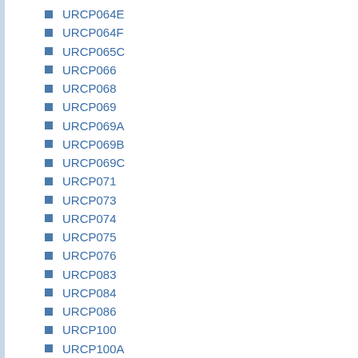URCP064E
URCP064F
URCP065C
URCP066
URCP068
URCP069
URCP069A
URCP069B
URCP069C
URCP071
URCP073
URCP074
URCP075
URCP076
URCP083
URCP084
URCP086
URCP100
URCP100A
URCP101
URCP103
URCP104
URCP105
URCP106
URCP108
URCP109